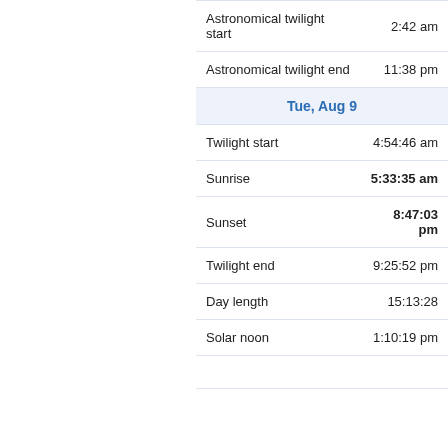| Event | Time |
| --- | --- |
| Astronomical twilight start | 2:42 am |
| Astronomical twilight end | 11:38 pm |
| Tue, Aug 9 |  |
| Twilight start | 4:54:46 am |
| Sunrise | 5:33:35 am |
| Sunset | 8:47:03 pm |
| Twilight end | 9:25:52 pm |
| Day length | 15:13:28 |
| Solar noon | 1:10:19 pm |